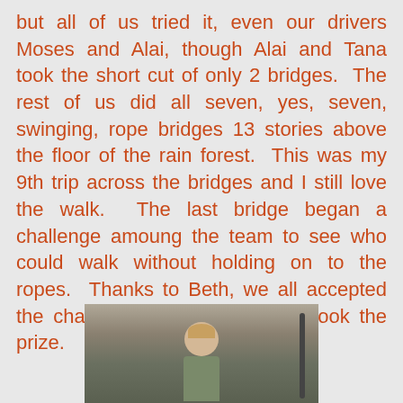but all of us tried it, even our drivers Moses and Alai, though Alai and Tana took the short cut of only 2 bridges.  The rest of us did all seven, yes, seven, swinging, rope bridges 13 stories above the floor of the rain forest.  This was my 9th trip across the bridges and I still love the walk.  The last bridge began a challenge amoung the team to see who could walk without holding on to the ropes.  Thanks to Beth, we all accepted the challenge and Nicole really took the prize.
[Figure (photo): A person standing outdoors in what appears to be a rainforest canopy walkway area, with trees visible in the background and a pole or rope structure to the right.]